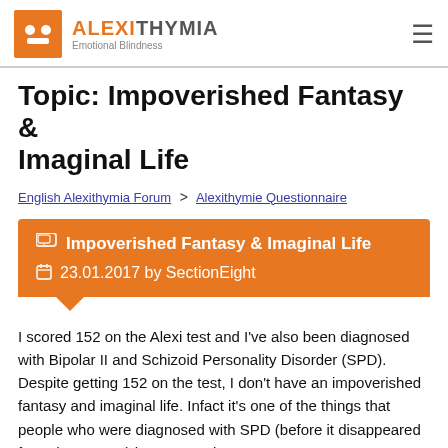ALEXITHYMIA Emotional Blindness
Topic: Impoverished Fantasy & Imaginal Life
English Alexithymia Forum > Alexithymie Questionnaire
Impoverished Fantasy & Imaginal Life 23.01.2017 by SectionEight
I scored 152 on the Alexi test and I've also been diagnosed with Bipolar II and Schizoid Personality Disorder (SPD). Despite getting 152 on the test, I don't have an impoverished fantasy and imaginal life. Infact it's one of the things that people who were diagnosed with SPD (before it disappeared from the DSM-V) have strongly.
I'm a member of Schizoid.net and this trait of having a